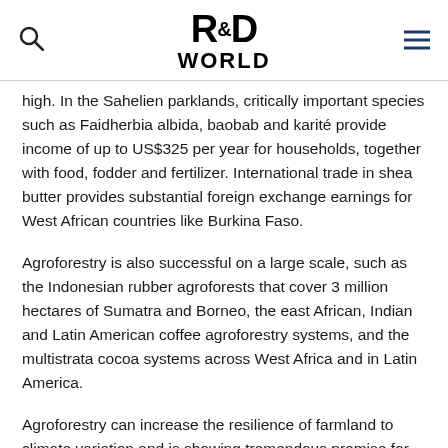R&D WORLD
high. In the Sahelien parklands, critically important species such as Faidherbia albida, baobab and karité provide income of up to US$325 per year for households, together with food, fodder and fertilizer. International trade in shea butter provides substantial foreign exchange earnings for West African countries like Burkina Faso.
Agroforestry is also successful on a large scale, such as the Indonesian rubber agroforests that cover 3 million hectares of Sumatra and Borneo, the east African, Indian and Latin American coffee agroforestry systems, and the multistrata cocoa systems across West Africa and in Latin America.
Agroforestry can increase the resilience of farmland to climate variation and is showing tremendous promise for future climate